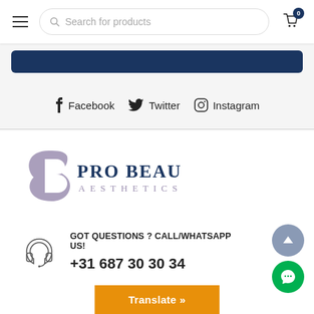Search for products
[Figure (screenshot): Blue button strip at top of page]
Facebook  Twitter  Instagram
[Figure (logo): Pro Beauty Aesthetics logo with stylized B icon and text PRO BEAUTY AESTHETICS]
GOT QUESTIONS ? CALL/WHATSAPP US!
+31 687 30 30 34
Translate »